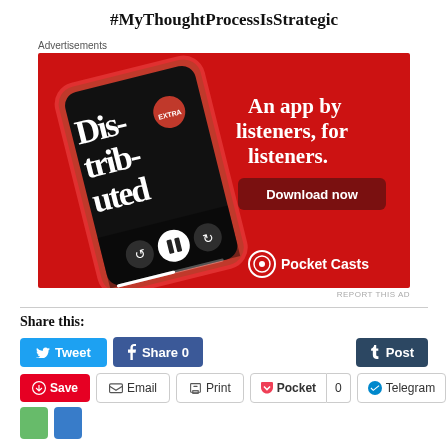#MyThoughtProcessIsStrategic
Advertisements
[Figure (illustration): Pocket Casts advertisement with red background showing a smartphone with podcast app, text 'An app by listeners, for listeners.' and 'Download now' button, with Pocket Casts branding at bottom right.]
REPORT THIS AD
Share this:
Tweet
Share 0
Post
Save
Email
Print
Pocket 0
Telegram